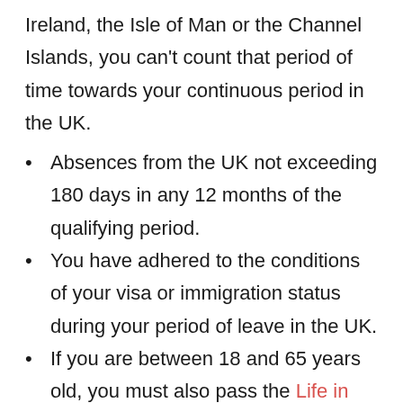Ireland, the Isle of Man or the Channel Islands, you can't count that period of time towards your continuous period in the UK.
Absences from the UK not exceeding 180 days in any 12 months of the qualifying period.
You have adhered to the conditions of your visa or immigration status during your period of leave in the UK.
If you are between 18 and 65 years old, you must also pass the Life in the UK Test and be able to demonstrate that